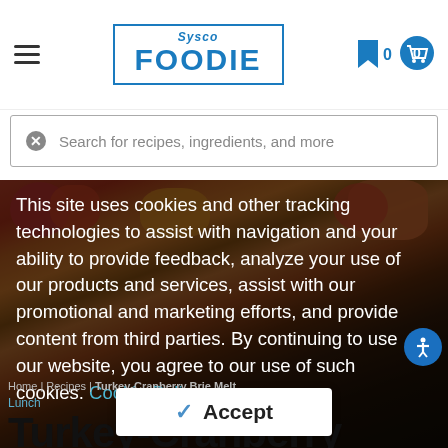Sysco FOODIE — navigation header with hamburger menu, logo, bookmark and cart icons
Search for recipes, ingredients, and more
[Figure (photo): Close-up photo of a Turkey-Cranberry Brie Melt sandwich with colorful toppings, partially obscured by dark overlay and cookie consent dialog]
This site uses cookies and other tracking technologies to assist with navigation and your ability to provide feedback, analyze your use of our products and services, assist with our promotional and marketing efforts, and provide content from third parties. By continuing to use our website, you agree to our use of such cookies. Cookie Policy
Home | Recipes | Turkey-Cranberry Brie Melt
Lunch
Turkey-Cranberry Brie Mel...